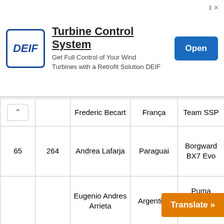[Figure (other): DEIF advertisement banner: Turbine Control System - Get Full Control of Your Wind Turbines with a Retrofit Solution DEIF. Open button.]
|  |  | Name | Country | Team |
| --- | --- | --- | --- | --- |
|  |  | Frederic Becart | França | Team SSP |
| 65 | 264 | Andrea Lafarja | Paraguai | Borgward BX7 Evo |
|  |  | Eugenio Andres Arrieta | Argentina | Puma Energy Rally Team |
| 66 | 239 | Carlos Checa | Espanha | MD Rally Sport Optimus |
|  |  | Ferran Marco Alcayna | Espa... | ...ly |
Translate »